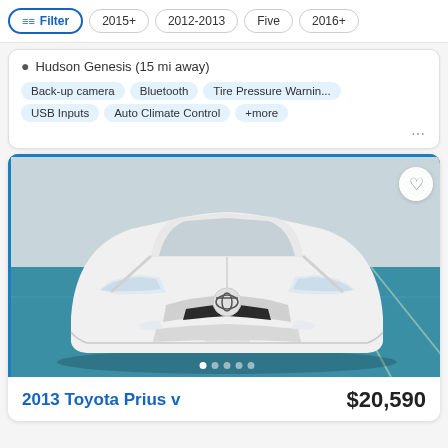Filter | 2015+ | 2012-2013 | Five | 2016+
Hudson Genesis (15 mi away)
Back-up camera
Bluetooth
Tire Pressure Warnin...
USB Inputs
Auto Climate Control
+more
[Figure (photo): Front view of a white 2013 Toyota Prius v parked in a dealership lot with teal/blue painted floor]
2013 Toyota Prius v    $20,590